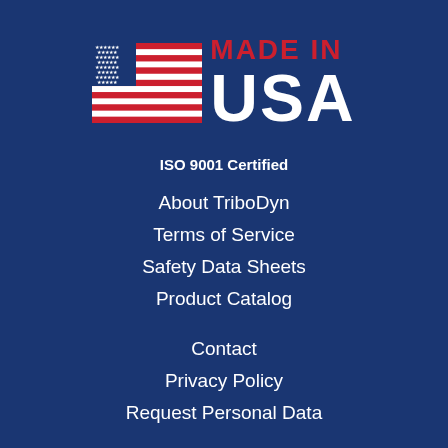[Figure (logo): Made in USA logo with American flag and bold text 'MADE IN USA']
ISO 9001 Certified
About TriboDyn
Terms of Service
Safety Data Sheets
Product Catalog
Contact
Privacy Policy
Request Personal Data
HAVE A QUESTION?